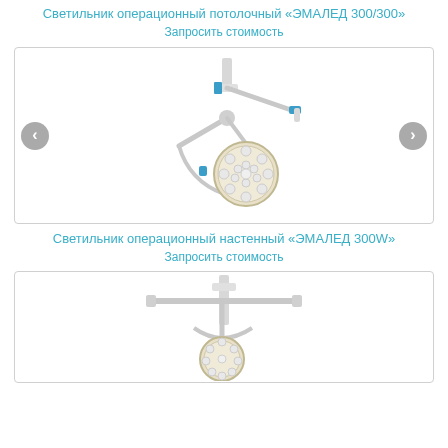Светильник операционный потолочный «ЭМАЛЕД 300/300»
Запросить стоимость
[Figure (photo): Medical surgical ceiling lamp ЭМАЛЕД 300/300 with articulated arm and circular LED head, mounted on ceiling bracket. Navigation arrows on left and right sides.]
Светильник операционный настенный «ЭМАЛЕД 300W»
Запросить стоимость
[Figure (photo): Medical surgical wall-mounted lamp ЭМАЛЕД 300W with articulated arm and circular LED head, partially visible at bottom of page.]